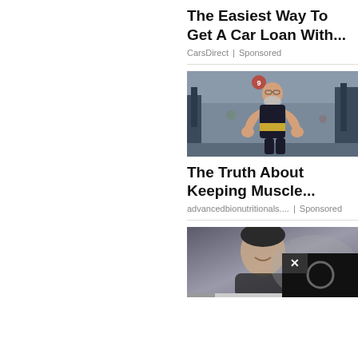The Easiest Way To Get A Car Loan With...
CarsDirect | Sponsored
[Figure (photo): Older man with white beard flexing muscles in a gym, wearing a black sleeveless shirt with a yellow belt]
The Truth About Keeping Muscle...
advancedbionutritionals.... | Sponsored
[Figure (photo): Smiling young man's face, partially obscured by a video player overlay with a close button and play circle]